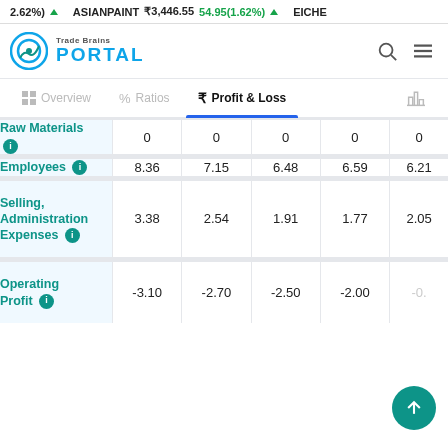2.62%) ▲   ASIANPAINT ₹3,446.55   54.95(1.62%) ▲   EICHE
[Figure (logo): Trade Brains PORTAL logo with circular icon]
|  |  |  |  |  |  |
| --- | --- | --- | --- | --- | --- |
| Raw Materials ℹ | 0 | 0 | 0 | 0 | 0 |
| Employees ℹ | 8.36 | 7.15 | 6.48 | 6.59 | 6.21 |
| Selling, Administration Expenses ℹ | 3.38 | 2.54 | 1.91 | 1.77 | 2.05 |
| Operating Profit ℹ | -3.10 | -2.70 | -2.50 | -2.00 | -0.? |